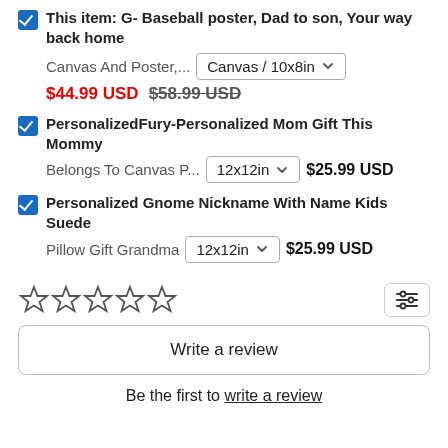This item: G- Baseball poster, Dad to son, Your way back home
Canvas And Poster,... Canvas / 10x8in
$44.99 USD  $58.99 USD
PersonalizedFury-Personalized Mom Gift This Mommy Belongs To Canvas P... 12x12in $25.99 USD
Personalized Gnome Nickname With Name Kids Suede Pillow Gift Grandma 12x12in $25.99 USD
[Figure (other): Five empty star rating icons in a row]
Write a review
Be the first to write a review